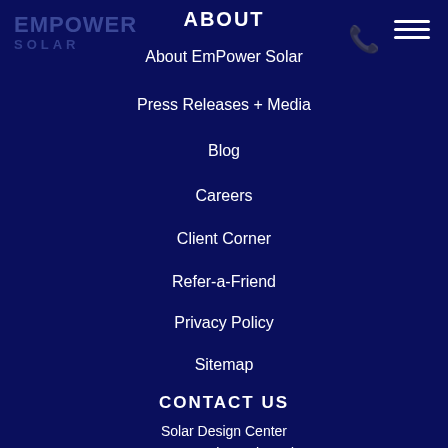[Figure (logo): EmPower Solar logo in faded blue-navy tones, top left]
ABOUT
About EmPower Solar
Press Releases + Media
Blog
Careers
Client Corner
Refer-a-Friend
Privacy Policy
Sitemap
CONTACT US
Solar Design Center
4589 Austin Boulevard
Island Park, NY 11558